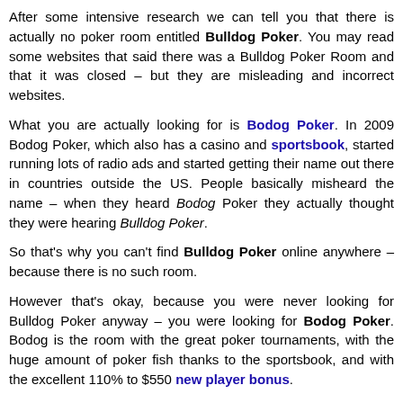After some intensive research we can tell you that there is actually no poker room entitled Bulldog Poker. You may read some websites that said there was a Bulldog Poker Room and that it was closed – but they are misleading and incorrect websites.
What you are actually looking for is Bodog Poker. In 2009 Bodog Poker, which also has a casino and sportsbook, started running lots of radio ads and started getting their name out there in countries outside the US. People basically misheard the name – when they heard Bodog Poker they actually thought they were hearing Bulldog Poker.
So that's why you can't find Bulldog Poker online anywhere – because there is no such room.
However that's okay, because you were never looking for Bulldog Poker anyway – you were looking for Bodog Poker. Bodog is the room with the great poker tournaments, with the huge amount of poker fish thanks to the sportsbook, and with the excellent 110% to $550 new player bonus.
Bodog is also a great poker room to play at, very trustworthy, and even accepts Americans. Their software isn't the greatest, but it's worth it just to play with the wide amount of bad players that Bodog has to offer.
So whatever you were looking for when you were looking for Bulldog Poker – Bodog has it.
Can Americans play at Bodog Poker?